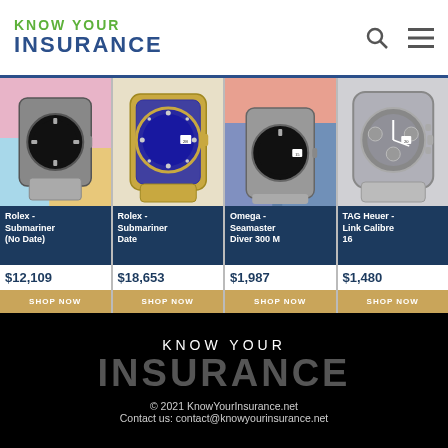KNOW YOUR INSURANCE
[Figure (photo): Four luxury watch product cards: Rolex Submariner No Date $12,109, Rolex Submariner Date $18,653, Omega Seamaster Diver 300M $1,987, TAG Heuer Link Calibre 16 $1,480, each with SHOP NOW button]
KNOW YOUR INSURANCE © 2021 KnowYourInsurance.net Contact us: contact@knowyourinsurance.net